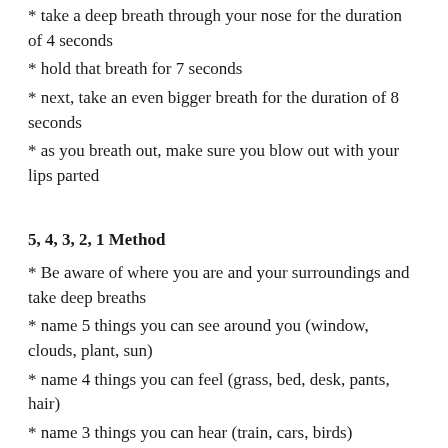take a deep breath through your nose for the duration of 4 seconds
hold that breath for 7 seconds
next, take an even bigger breath for the duration of 8 seconds
as you breath out, make sure you blow out with your lips parted
5, 4, 3, 2, 1 Method
Be aware of where you are and your surroundings and take deep breaths
name 5 things you can see around you (window, clouds, plant, sun)
name 4 things you can feel (grass, bed, desk, pants, hair)
name 3 things you can hear (train, cars, birds)
name 2 things you can smell (coffee, rain)
give yourself a compliment or recite one positive affirmation (you are doing the best that